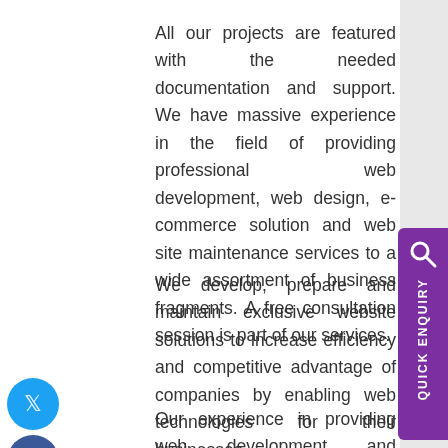All our projects are featured with the needed documentation and support. We have massive experience in the field of providing professional web development, web design, e-commerce solution and web site maintenance services to a wide assortment of business fragments. A free consultation session is part of our services.
We develop, prepare and maintain exclusive website solutions to increase efficiency and competitive advantage of companies by enabling web technologies for their businesses.
Our experience in providing web development and ecommerce software development